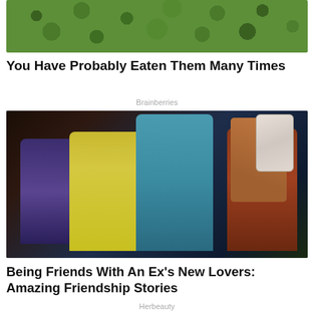[Figure (photo): Close-up photo of green textured vegetable or plant surface]
You Have Probably Eaten Them Many Times
Brainberries
[Figure (photo): Group of four smiling people taking a selfie in a restaurant setting. A young woman in a plaid shirt holds the phone camera up, a tall man in a teal shirt stands next to her, a woman in a yellow top is in the center-front, and an older woman in a blue outfit is on the left.]
Being Friends With An Ex's New Lovers: Amazing Friendship Stories
Herbeauty